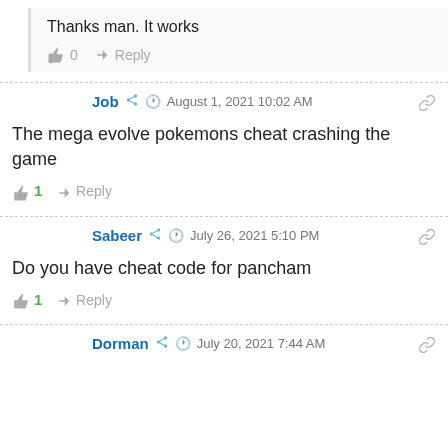Thanks man. It works
👍 0  ➤ Reply
Job  🔗  🕐 August 1, 2021 10:02 AM
The mega evolve pokemons cheat crashing the game
👍 1  ➤ Reply
Sabeer  🔗  🕐 July 26, 2021 5:10 PM
Do you have cheat code for pancham
👍 1  ➤ Reply
Dorman  🔗  🕐 July 20, 2021 7:44 AM